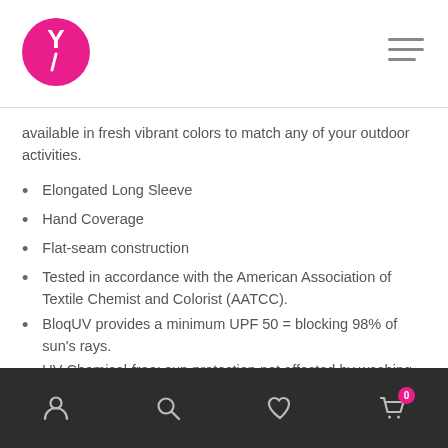BloquV logo and navigation
available in fresh vibrant colors to match any of your outdoor activities.
Elongated Long Sleeve
Hand Coverage
Flat-seam construction
Tested in accordance with the American Association of Textile Chemist and Colorist (AATCC).
BloquV provides a minimum UPF 50 = blocking 98% of sun's rays.
UV Chemical-free; sun protection not affected by washing
Style: #4001
Navigation footer with account, search, wishlist, and cart icons